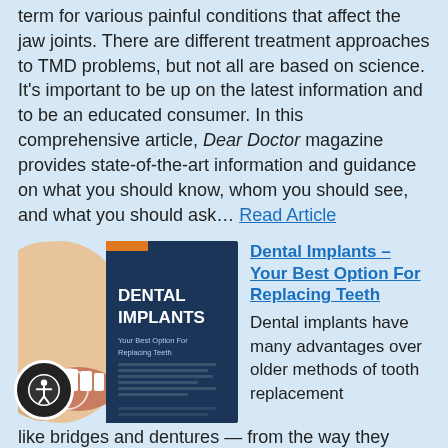term for various painful conditions that affect the jaw joints. There are different treatment approaches to TMD problems, but not all are based on science. It's important to be up on the latest information and to be an educated consumer. In this comprehensive article, Dear Doctor magazine provides state-of-the-art information and guidance on what you should know, whom you should see, and what you should ask… Read Article
[Figure (photo): Magazine cover image showing a dental implants article with a person's open mouth showing teeth on the left, and the title 'DENTAL IMPLANTS Your Best Option For Replacing Teeth' on a dark blue background on the right.]
Dental Implants – Your Best Option For Replacing Teeth
Dental implants have many advantages over older methods of tooth replacement like bridges and dentures — from the way they function and feel to the way they look and last. Vigorous research has documented and